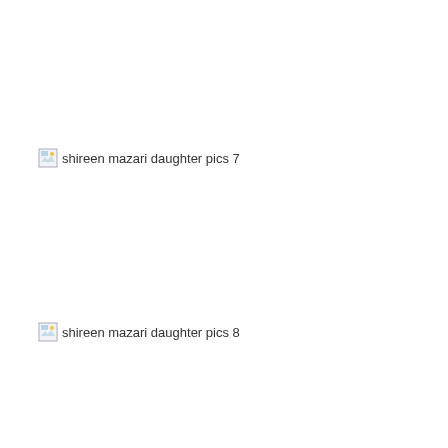[Figure (photo): Broken image placeholder with alt text: shireen mazari daughter pics 7]
[Figure (photo): Broken image placeholder with alt text: shireen mazari daughter pics 8]